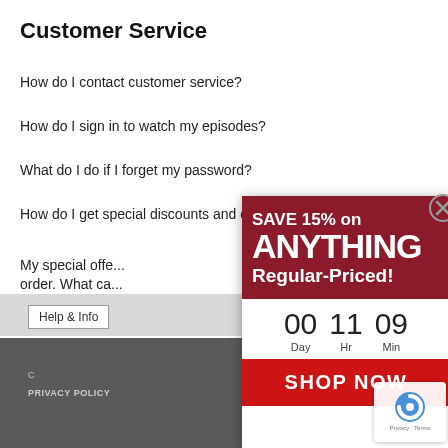Customer Service
How do I contact customer service?
How do I sign in to watch my episodes?
What do I do if I forget my password?
How do I get special discounts and offers from Annie's?
My special offe... order. What ca...
My email addre...
[Figure (screenshot): Popup advertisement overlay showing 'SAVE 15% on ANYTHING Regular-Priced!' with a countdown timer (00 Day, 11 Hr, 09 Min) and a 'SHOP NOW' button on a dark red background. A close (X) button is in the upper right corner.]
Help & Info
C
PRIVACY POLICY